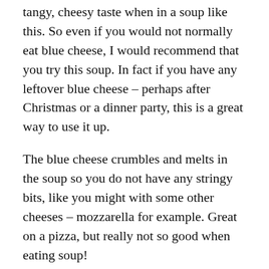tangy, cheesy taste when in a soup like this. So even if you would not normally eat blue cheese, I would recommend that you try this soup. In fact if you have any leftover blue cheese – perhaps after Christmas or a dinner party, this is a great way to use it up.
The blue cheese crumbles and melts in the soup so you do not have any stringy bits, like you might with some other cheeses – mozzarella for example. Great on a pizza, but really not so good when eating soup!
Easy Cauliflower And Blue Cheese Soup